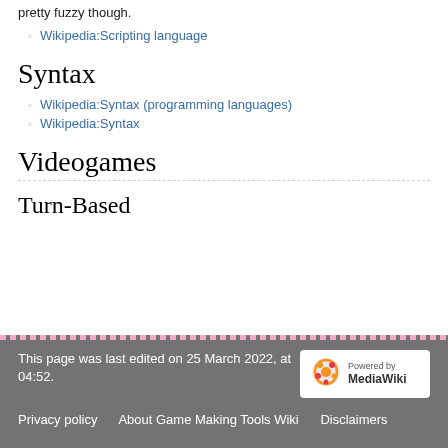pretty fuzzy though.
Wikipedia:Scripting language
Syntax
Wikipedia:Syntax (programming languages)
Wikipedia:Syntax
Videogames
Turn-Based
This page was last edited on 25 March 2022, at 04:52.
Privacy policy   About Game Making Tools Wiki   Disclaimers